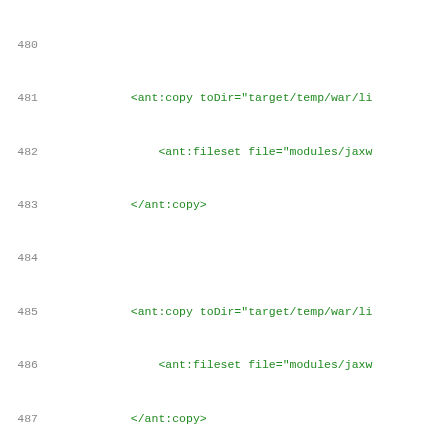Source code listing, lines 480-500, showing XML/Ant build script with ant:copy and ant:fileset elements
480: (empty)
481:             <ant:copy toDir="target/temp/war/li
482:                 <ant:fileset file="modules/jaxw
483:             </ant:copy>
484: (empty)
485:             <ant:copy toDir="target/temp/war/li
486:                 <ant:fileset file="modules/jaxw
487:             </ant:copy>
488: (empty)
489:             <ant:copy toDir="target/temp/war/li
490:                 <ant:fileset file="modules/saaj
491:             </ant:copy>
492: (empty)
493:             <ant:copy toDir="target/temp/war/li
494:                 <ant:fileset file="modules/saaj
495:             </ant:copy>
496:         </j:if>
497: (empty)
498:         <!-- Copy the soapmonitor jar - the ser
499:         <ant:copy toDir="target/temp/war/lib">
500:             <ant:fileset